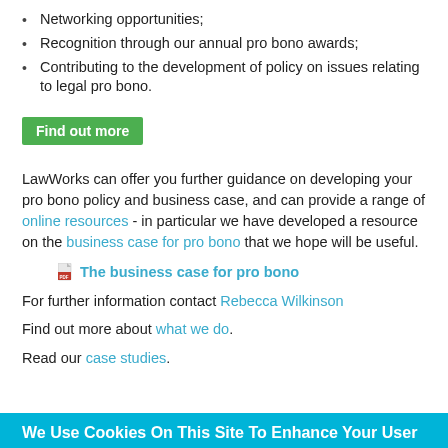Networking opportunities;
Recognition through our annual pro bono awards;
Contributing to the development of policy on issues relating to legal pro bono.
Find out more
LawWorks can offer you further guidance on developing your pro bono policy and business case, and can provide a range of online resources - in particular we have developed a resource on the business case for pro bono that we hope will be useful.
The business case for pro bono
For further information contact Rebecca Wilkinson
Find out more about what we do.
Read our case studies.
We Use Cookies On This Site To Enhance Your User